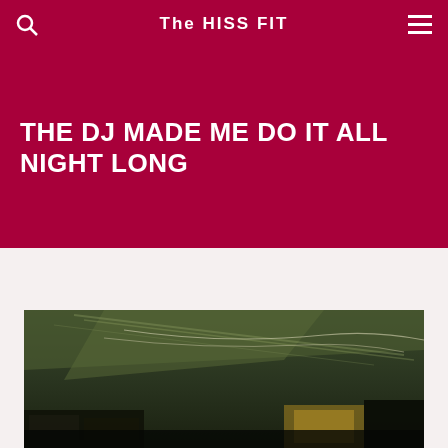The HISS FIT
THE DJ MADE ME DO IT ALL NIGHT LONG
[Figure (photo): A dimly lit photo showing what appears to be a DJ setup or stage area with cables, equipment and green-tinted lighting overhead]